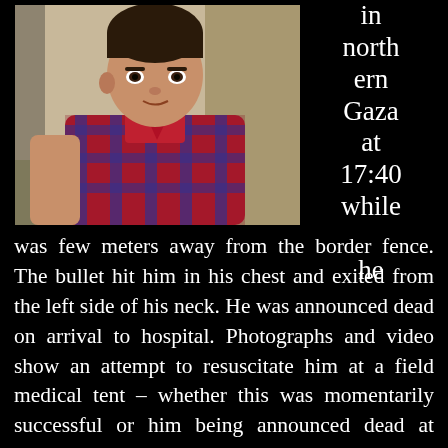[Figure (photo): Portrait photo of a young man wearing a red and blue plaid shirt, taking a selfie in an outdoor/stairwell setting.]
in northern Gaza at 17:40 while he
was few meters away from the border fence. The bullet hit him in his chest and exited from the left side of his neck. He was announced dead on arrival to hospital. Photographs and video show an attempt to resuscitate him at a field medical tent – whether this was momentarily successful or him being announced dead at arrival on hospital being a